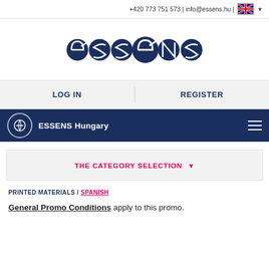+420 773 751 573 | info@essens.hu |
[Figure (logo): ESSENS logo — dark navy circular letter shapes spelling 'essens']
LOG IN
REGISTER
ESSENS Hungary
THE CATEGORY SELECTION
PRINTED MATERIALS / SPANISH
General Promo Conditions apply to this promo.